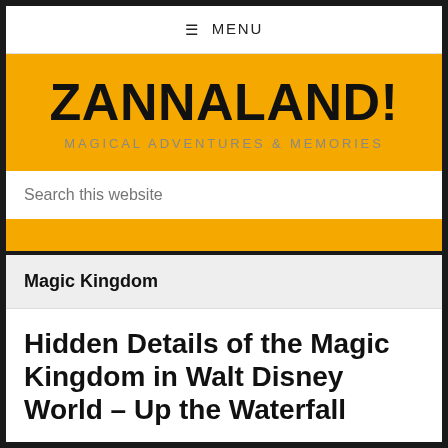≡ MENU
ZANNALAND!
MAGICAL ADVENTURES & MEMORIES
Search this website
Magic Kingdom
Hidden Details of the Magic Kingdom in Walt Disney World – Up the Waterfall